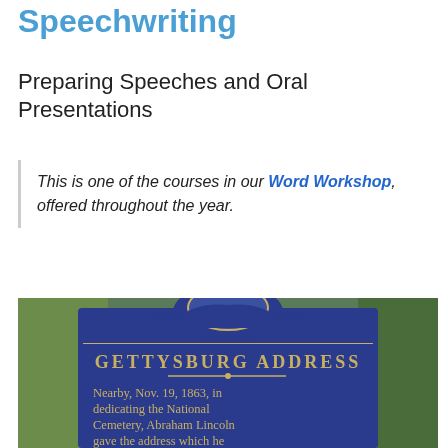Speechwriting
Preparing Speeches and Oral Presentations
This is one of the courses in our Word Workshop, offered throughout the year.
[Figure (photo): A blue Pennsylvania historical marker sign reading 'GETTYSBURG ADDRESS — Nearby, Nov. 19, 1863, in dedicating the National Cemetery, Abraham Lincoln gave the address which he had written in Washington']